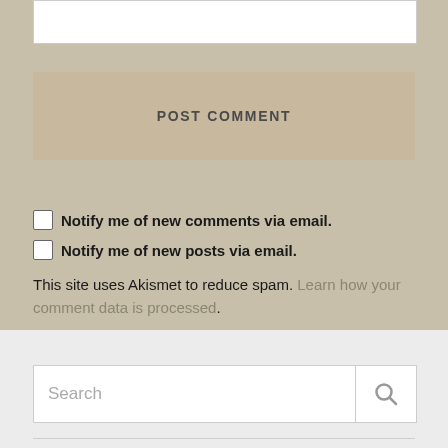[Figure (screenshot): White text area input box (partially visible at top)]
POST COMMENT
Notify me of new comments via email.
Notify me of new posts via email.
This site uses Akismet to reduce spam. Learn how your comment data is processed.
[Figure (screenshot): Search bar with search icon button]